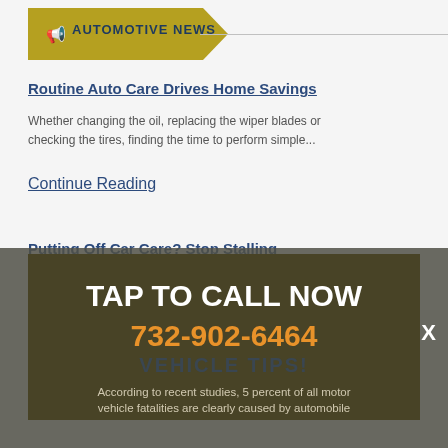AUTOMOTIVE NEWS
Routine Auto Care Drives Home Savings
Whether changing the oil, replacing the wiper blades or checking the tires, finding the time to perform simple...
Continue Reading
Putting Off Car Care? Stop Stalling
Overdue for an oil change or a brake inspection? Whatever the service, by postponing necessary maintenance, you may...
Continue Reading
TAP TO CALL NOW
732-902-6464
VEHICLE TIPS
According to recent studies, 5 percent of all motor vehicle fatalities are clearly caused by automobile